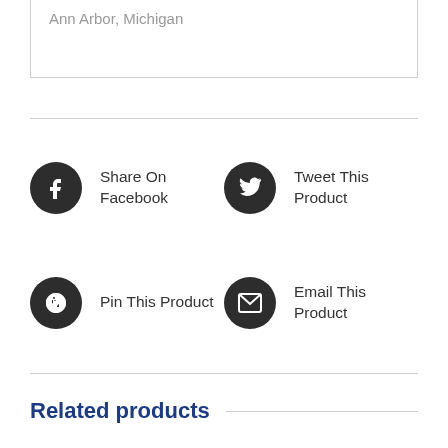Ann Arbor, Michigan
Share On Facebook
Tweet This Product
Pin This Product
Email This Product
Related products